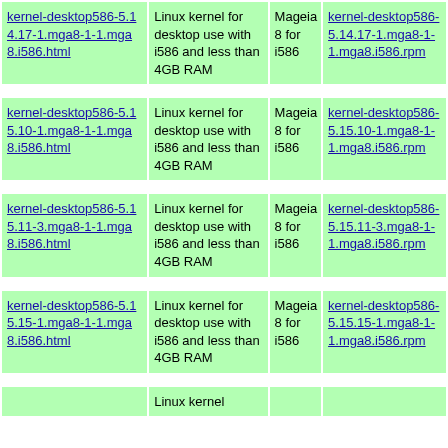| Package | Description | Arch | RPM |
| --- | --- | --- | --- |
| kernel-desktop586-5.14.17-1.mga8-1-1.mga8.i586.html | Linux kernel for desktop use with i586 and less than 4GB RAM | Mageia 8 for i586 | kernel-desktop586-5.14.17-1.mga8-1-1.mga8.i586.rpm |
| kernel-desktop586-5.15.10-1.mga8-1-1.mga8.i586.html | Linux kernel for desktop use with i586 and less than 4GB RAM | Mageia 8 for i586 | kernel-desktop586-5.15.10-1.mga8-1-1.mga8.i586.rpm |
| kernel-desktop586-5.15.11-3.mga8-1-1.mga8.i586.html | Linux kernel for desktop use with i586 and less than 4GB RAM | Mageia 8 for i586 | kernel-desktop586-5.15.11-3.mga8-1-1.mga8.i586.rpm |
| kernel-desktop586-5.15.15-1.mga8-1-1.mga8.i586.html | Linux kernel for desktop use with i586 and less than 4GB RAM | Mageia 8 for i586 | kernel-desktop586-5.15.15-1.mga8-1-1.mga8.i586.rpm |
| ... | Linux kernel | ... | ... |